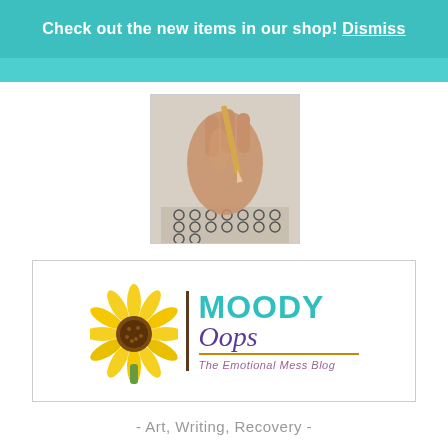Check out the new items in our shop! Dismiss
[Figure (photo): A hand holding a pencil writing in a spiral-bound notebook, artistic/watercolor style]
[Figure (logo): Moody Oops - The Emotional Mess Blog logo with sunflower graphic]
- Art, Writing, Recovery -
[Figure (infographic): Social media icons row: Facebook, Pinterest, Instagram, Twitter, LinkedIn — all in yellow circles]